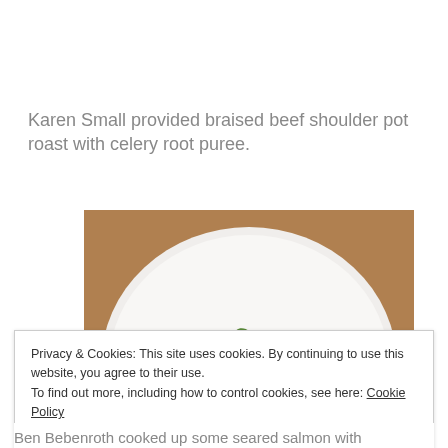Karen Small provided braised beef shoulder pot roast with celery root puree.
[Figure (photo): A plated dish on a white round plate showing a seared piece of protein (salmon or beef) on top of dark grains or lentils with green vegetables, on a wooden table background.]
Privacy & Cookies: This site uses cookies. By continuing to use this website, you agree to their use.
To find out more, including how to control cookies, see here: Cookie Policy
Close and accept
Ben Bebenroth cooked up some seared salmon with